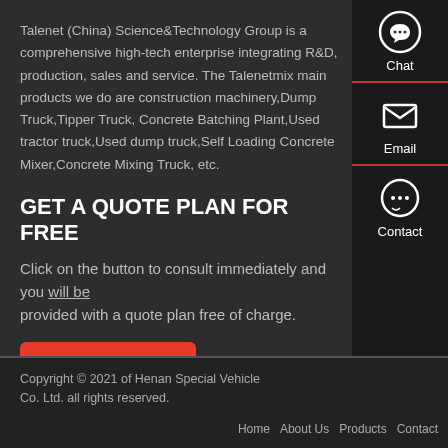Talenet (China) Science&Technology Group is a comprehensive high-tech enterprise integrating R&D, production, sales and service. The Talenetmix main products we do are construction machinery,Dump Truck,Tipper Truck, Concrete Batching Plant,Used tractor truck,Used dump truck,Self Loading Concrete Mixer,Concrete Mixing Truck, etc.
GET A QUOTE PLAN FOR FREE
Click on the button to consult immediately and you will be provided with a quote plan free of charge.
[Figure (other): Get A Quote red button]
[Figure (other): Sidebar with Chat, Email, and Contact icons and labels]
Copyright © 2021 of Henan Special Vehicle Co. Ltd. all rights reserved. Home  About Us  Products  Contact